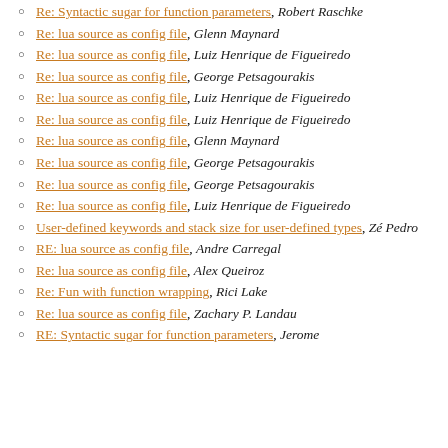Re: Syntactic sugar for function parameters, Robert Raschke
Re: lua source as config file, Glenn Maynard
Re: lua source as config file, Luiz Henrique de Figueiredo
Re: lua source as config file, George Petsagourakis
Re: lua source as config file, Luiz Henrique de Figueiredo
Re: lua source as config file, Luiz Henrique de Figueiredo
Re: lua source as config file, Glenn Maynard
Re: lua source as config file, George Petsagourakis
Re: lua source as config file, George Petsagourakis
Re: lua source as config file, Luiz Henrique de Figueiredo
User-defined keywords and stack size for user-defined types, Zé Pedro
RE: lua source as config file, Andre Carregal
Re: lua source as config file, Alex Queiroz
Re: Fun with function wrapping, Rici Lake
Re: lua source as config file, Zachary P. Landau
RE: Syntactic sugar for function parameters, Jerome